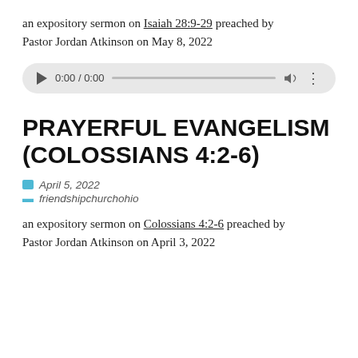an expository sermon on Isaiah 28:9-29 preached by Pastor Jordan Atkinson on May 8, 2022
[Figure (screenshot): Audio player widget with play button, time display 0:00 / 0:00, progress bar, volume icon, and options menu dots]
PRAYERFUL EVANGELISM (COLOSSIANS 4:2-6)
April 5, 2022
friendshipchurchohio
an expository sermon on Colossians 4:2-6 preached by Pastor Jordan Atkinson on April 3, 2022